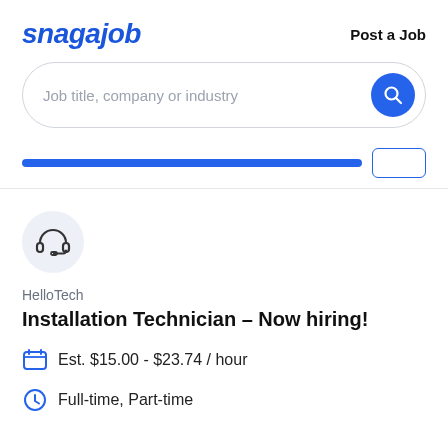snagajob | Post a Job
Job title, company or industry
HelloTech
Installation Technician - Now hiring!
Est. $15.00 - $23.74 / hour
Full-time, Part-time